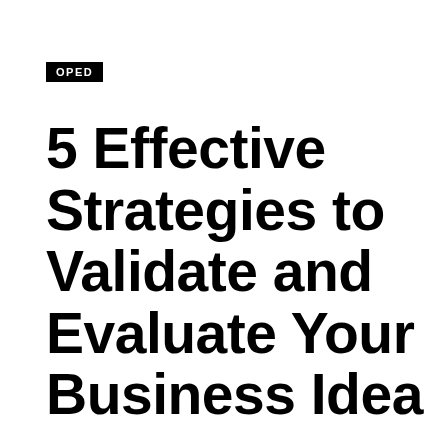OPED
5 Effective Strategies to Validate and Evaluate Your Business Idea